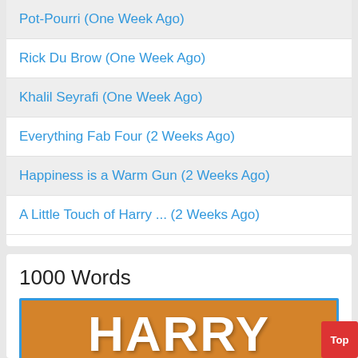Pot-Pourri (One Week Ago)
Rick Du Brow (One Week Ago)
Khalil Seyrafi (One Week Ago)
Everything Fab Four (2 Weeks Ago)
Happiness is a Warm Gun (2 Weeks Ago)
A Little Touch of Harry ... (2 Weeks Ago)
1000 Words
[Figure (illustration): Orange background image with white bold text reading HARRY]